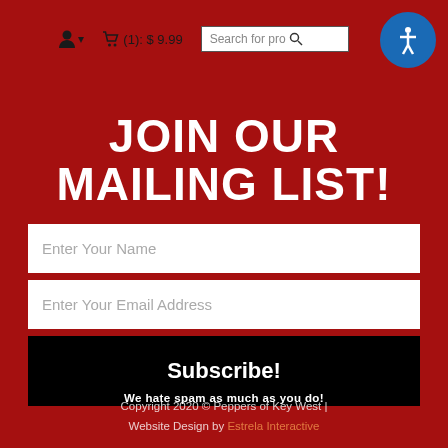User menu | Cart (1): $9.99 | Search for products | Accessibility button
JOIN OUR MAILING LIST!
Enter Your Name
Enter Your Email Address
Subscribe!
We hate spam as much as you do!
Copyright 2020 © Peppers of Key West | Website Design by Estrela Interactive